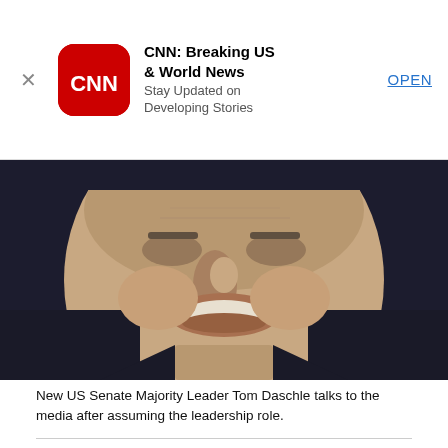[Figure (screenshot): CNN app advertisement banner with red rounded-square logo, app name 'CNN: Breaking US & World News', subtitle 'Stay Updated on Developing Stories', and blue OPEN button]
[Figure (photo): Black and white close-up photo of Tom Daschle smiling, wearing a dark suit]
New US Senate Majority Leader Tom Daschle talks to the media after assuming the leadership role.
Democratic Sen. Tom Daschle of South Dakota gave the State of the Union response in 2004. He lost his Senate seat that November, and then had to withdraw from his nomination to be health and human services secretary in 2009 after mistakes on his tax returns.